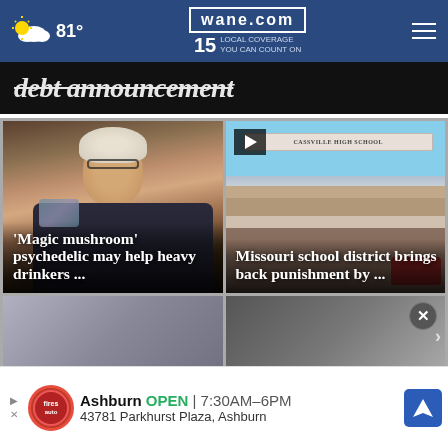wane.com | 15 LOCAL COVERAGE YOU CAN COUNT ON | 81°
debt announcement
[Figure (photo): Photo of older woman with curly gray hair and glasses standing in a store, with headline text overlay]
'Magic mushroom' psychedelic may help heavy drinkers ...
[Figure (photo): Photo of Cassville High School brick building exterior with video play button overlay]
Missouri school district brings back punishment by ...
[Figure (photo): Bottom left card photo - urban scene]
[Figure (photo): Bottom right card photo - dark image with close button]
Ashburn  OPEN  7:30AM–6PM  43781 Parkhurst Plaza, Ashburn